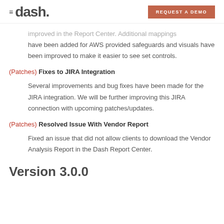≡ dash. REQUEST A DEMO
improved in the Report Center. Additional mappings have been added for AWS provided safeguards and visuals have been improved to make it easier to see set controls.
(Patches) Fixes to JIRA Integration
Several improvements and bug fixes have been made for the JIRA integration. We will be further improving this JIRA connection with upcoming patches/updates.
(Patches) Resolved Issue With Vendor Report
Fixed an issue that did not allow clients to download the Vendor Analysis Report in the Dash Report Center.
Version 3.0.0